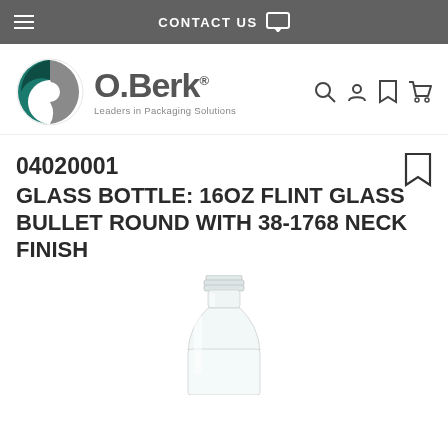CONTACT US
[Figure (logo): O.Berk logo - circular teal/green design with O.Berk text and tagline 'Leaders in Packaging Solutions']
04020001
GLASS BOTTLE: 16OZ FLINT GLASS BULLET ROUND WITH 38-1768 NECK FINISH
[Figure (photo): Clear glass 16oz bullet round bottle with threaded 38-1768 neck finish, shown partially cropped at bottom of page]